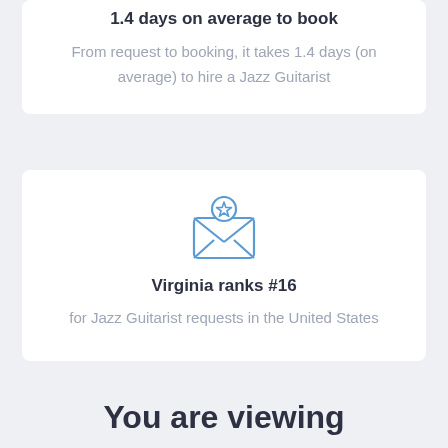1.4 days on average to book
From request to booking, it takes 1.4 days (on average) to hire a Jazz Guitarist
[Figure (illustration): Blue outlined envelope icon with a star badge on top, representing requests or bookings]
Virginia ranks #16
for Jazz Guitarist requests in the United States
You are viewing